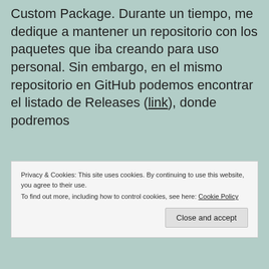Custom Package. Durante un tiempo, me dedique a mantener un repositorio con los paquetes que iba creando para uso personal. Sin embargo, en el mismo repositorio en GitHub podemos encontrar el listado de Releases (link), donde podremos
Ver el estado de la última Release activa, incluidos nuevas funcionalidades, bug
Privacy & Cookies: This site uses cookies. By continuing to use this website, you agree to their use.
To find out more, including how to control cookies, see here: Cookie Policy